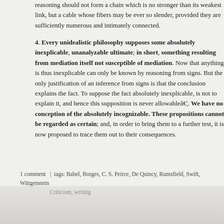reasoning should not form a chain which is no stronger than its weakest link, but a cable whose fibers may be ever so slender, provided they are sufficiently numerous and intimately connected.
4. Every unidealistic philosophy supposes some absolutely inexplicable, unanalyzable ultimate; in short, something resulting from mediation itself not susceptible of mediation. Now that anything is thus inexplicable can only be known by reasoning from signs. But the only justification of an inference from signs is that the conclusion explains the fact. To suppose the fact absolutely inexplicable, is not to explain it, and hence this supposition is never allowableâ€¦. We have no conception of the absolutely incognizable. These propositions cannot be regarded as certain; and, in order to bring them to a further test, it is now proposed to trace them out to their consequences.
1 comment  |  tags: Babel, Borges, C. S. Peirce, De Quincy, Rumsfield, Swift, Wittgenstein, Criticism, writing